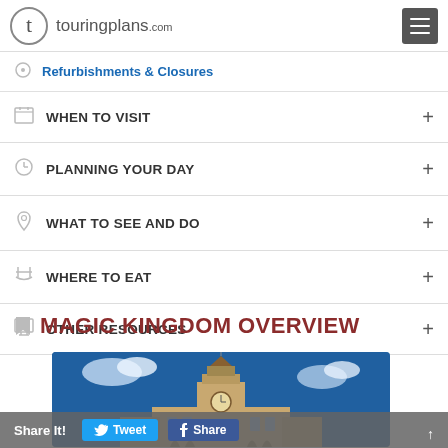touringplans.com
Refurbishments & Closures
WHEN TO VISIT
PLANNING YOUR DAY
WHAT TO SEE AND DO
WHERE TO EAT
OTHER RESOURCES
MAGIC KINGDOM OVERVIEW
[Figure (photo): Photo of Magic Kingdom train station building with clock tower against a blue sky with clouds]
Share It! Tweet Share